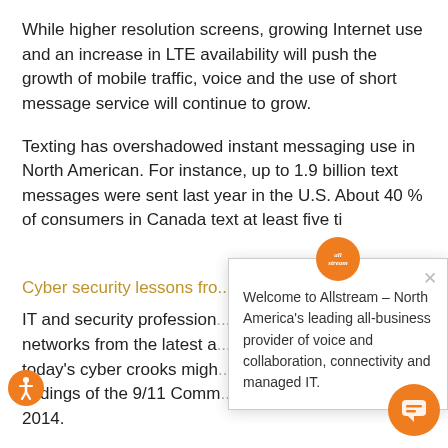While higher resolution screens, growing Internet use and an increase in LTE availability will push the growth of mobile traffic, voice and the use of short message service will continue to grow.
Texting has overshadowed instant messaging use in North American. For instance, up to 1.9 billion text messages were sent last year in the U.S. About 40 % of consumers in Canada text at least five times a day, the report said.
Cyber security lessons fro...
IT and security professionals networks from the latest a today's cyber crooks migh findings of the 9/11 Commission 2014.
Formally called Final Report of the National Commission on Terrorist Attacks Upon the United States,  the document is an official account of events leading up to the September 11,
[Figure (screenshot): Allstream popup overlay with logo, close button, and welcome text: 'Welcome to Allstream – North America's leading all-business provider of voice and collaboration, connectivity and managed IT.']